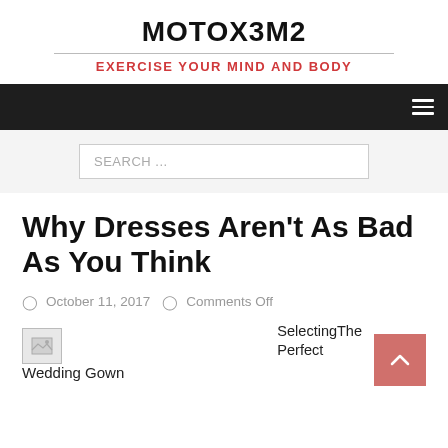MOTOX3M2
EXERCISE YOUR MIND AND BODY
[Figure (screenshot): Navigation bar with hamburger menu icon on dark background]
SEARCH ...
Why Dresses Aren't As Bad As You Think
October 11, 2017   Comments Off
[Figure (photo): Broken image placeholder for article]
Wedding Gown
SelectingThe Perfect